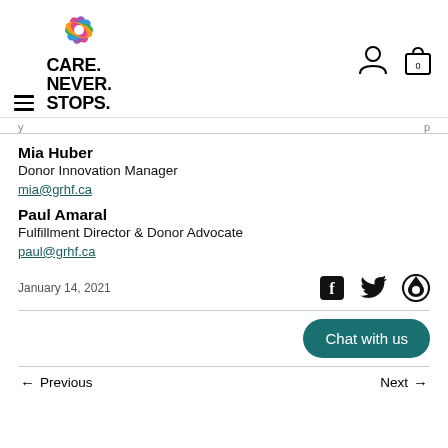[Figure (logo): Care. Never. Stops. logo with colorful flower/leaf icon above bold black text]
Mia Huber
Donor Innovation Manager
mia@grhf.ca
Paul Amaral
Fulfillment Director & Donor Advocate
paul@grhf.ca
January 14, 2021
[Figure (infographic): Social media icons: Facebook, Twitter, Pinterest]
Chat with us
Previous
Next